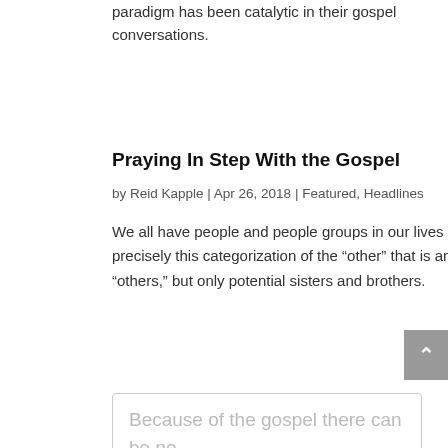paradigm has been catalytic in their gospel conversations.
Praying In Step With the Gospel
by Reid Kapple | Apr 26, 2018 | Featured, Headlines
We all have people and people groups in our lives that we uniquely deem as “other” because of various factors. And it is precisely this categorization of the “other” that is antithetical to the truth of the gospel. Because of the gospel there can be no “others,” but only potential sisters and brothers.
Because of the gospel there can be no